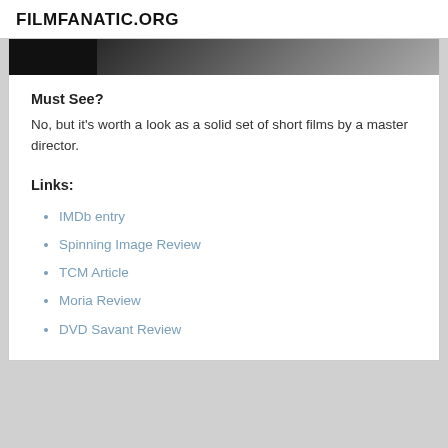FILMFANATIC.ORG
[Figure (photo): Partial view of a dark film still or movie screenshot strip at top of content card]
Must See?
No, but it’s worth a look as a solid set of short films by a master director.
Links:
IMDb entry
Spinning Image Review
TCM Article
Moria Review
DVD Savant Review